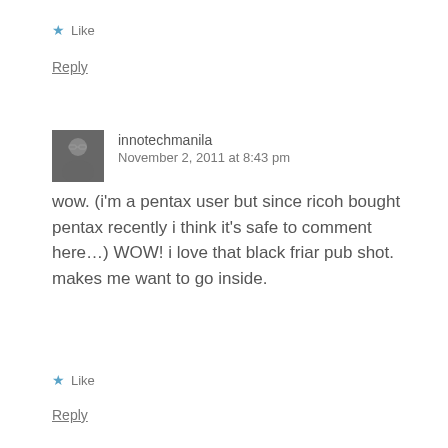★ Like
Reply
[Figure (photo): Avatar photo of user innotechmanila, showing a person wearing glasses and dark shirt]
innotechmanila
November 2, 2011 at 8:43 pm
wow. (i'm a pentax user but since ricoh bought pentax recently i think it's safe to comment here…) WOW! i love that black friar pub shot. makes me want to go inside.
★ Like
Reply